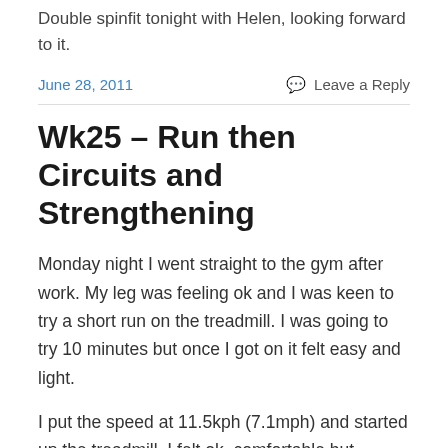Double spinfit tonight with Helen, looking forward to it.
June 28, 2011
Leave a Reply
Wk25 – Run then Circuits and Strengthening
Monday night I went straight to the gym after work. My leg was feeling ok and I was keen to try a short run on the treadmill. I was going to try 10 minutes but once I got on it felt easy and light.
I put the speed at 11.5kph (7.1mph) and started up the treadmill. I felt ok, comfortable but conscious of any pain in my right leg. I ran for 10 minutes and felt ok, perhaps a slight twinge in the back of my right ankle, but perhaps I